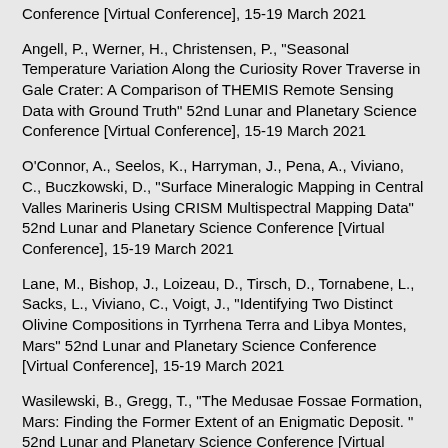Conference [Virtual Conference], 15-19 March 2021
Angell, P., Werner, H., Christensen, P., "Seasonal Temperature Variation Along the Curiosity Rover Traverse in Gale Crater: A Comparison of THEMIS Remote Sensing Data with Ground Truth" 52nd Lunar and Planetary Science Conference [Virtual Conference], 15-19 March 2021
O'Connor, A., Seelos, K., Harryman, J., Pena, A., Viviano, C., Buczkowski, D., "Surface Mineralogic Mapping in Central Valles Marineris Using CRISM Multispectral Mapping Data" 52nd Lunar and Planetary Science Conference [Virtual Conference], 15-19 March 2021
Lane, M., Bishop, J., Loizeau, D., Tirsch, D., Tornabene, L., Sacks, L., Viviano, C., Voigt, J., "Identifying Two Distinct Olivine Compositions in Tyrrhena Terra and Libya Montes, Mars" 52nd Lunar and Planetary Science Conference [Virtual Conference], 15-19 March 2021
Wasilewski, B., Gregg, T., "The Medusae Fossae Formation, Mars: Finding the Former Extent of an Enigmatic Deposit. " 52nd Lunar and Planetary Science Conference [Virtual Conference], 15-19 March 2021
Cowart, J., Rogers, A., "Compositional Analysis of Martian Regolith and Surface Deposits Using THEMIS Repeat Imaging over the